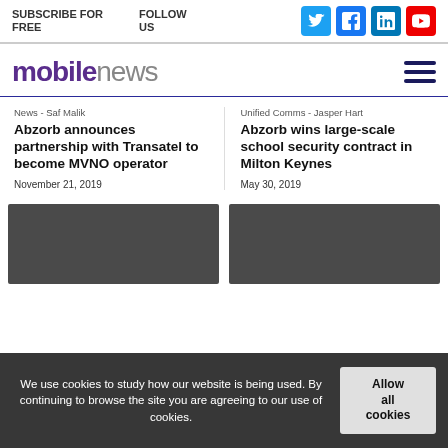SUBSCRIBE FOR FREE   FOLLOW US
mobilenews
News - Saf Malik
Abzorb announces partnership with Transatel to become MVNO operator
November 21, 2019
Unified Comms - Jasper Hart
Abzorb wins large-scale school security contract in Milton Keynes
May 30, 2019
We use cookies to study how our website is being used. By continuing to browse the site you are agreeing to our use of cookies.